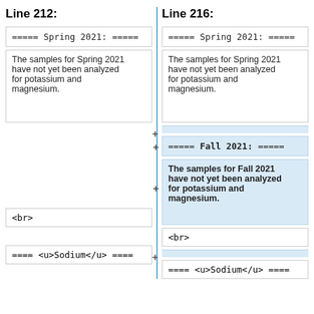Line 212:
Line 216:
===== Spring 2021: =====
===== Spring 2021: =====
The samples for Spring 2021 have not yet been analyzed for potassium and magnesium.
The samples for Spring 2021 have not yet been analyzed for potassium and magnesium.
===== Fall 2021: =====
The samples for Fall 2021 have not yet been analyzed for potassium and magnesium.
<br>
<br>
==== <u>Sodium</u> ====
==== <u>Sodium</u> ====